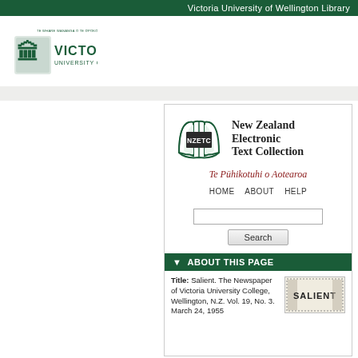Victoria University of Wellington Library
[Figure (logo): Victoria University of Wellington crest and wordmark logo]
[Figure (logo): New Zealand Electronic Text Collection (NZETC) logo with open book graphic]
New Zealand Electronic Text Collection
Te Pūhikotuhi o Aotearoa
HOME   ABOUT   HELP
Search
▼ ABOUT THIS PAGE
Title: Salient. The Newspaper of Victoria University College, Wellington, N.Z. Vol. 19, No. 3. March 24, 1955